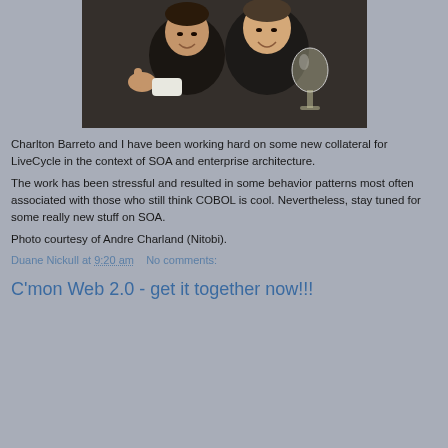[Figure (photo): Two men posing for a photo, one giving thumbs up, the other holding a wine glass, both smiling/laughing, dark background]
Charlton Barreto and I have been working hard on some new collateral for LiveCycle in the context of SOA and enterprise architecture.
The work has been stressful and resulted in some behavior patterns most often associated with those who still think COBOL is cool. Nevertheless, stay tuned for some really new stuff on SOA.
Photo courtesy of Andre Charland (Nitobi).
Duane Nickull at 9:20 am   No comments:
C'mon Web 2.0 - get it together now!!!